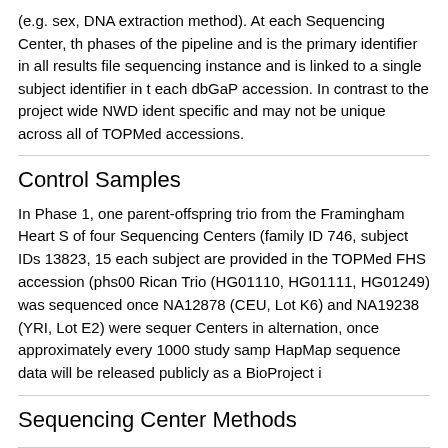(e.g. sex, DNA extraction method). At each Sequencing Center, the phases of the pipeline and is the primary identifier in all results files sequencing instance and is linked to a single subject identifier in the each dbGaP accession. In contrast to the project wide NWD identifier specific and may not be unique across all of TOPMed accessions.
Control Samples
In Phase 1, one parent-offspring trio from the Framingham Heart Study of four Sequencing Centers (family ID 746, subject IDs 13823, 15 each subject are provided in the TOPMed FHS accession (phs00 Rican Trio (HG01110, HG01111, HG01249) was sequenced once NA12878 (CEU, Lot K6) and NA19238 (YRI, Lot E2) were sequenced Centers in alternation, once approximately every 1000 study samples HapMap sequence data will be released publicly as a BioProject in
Sequencing Center Methods